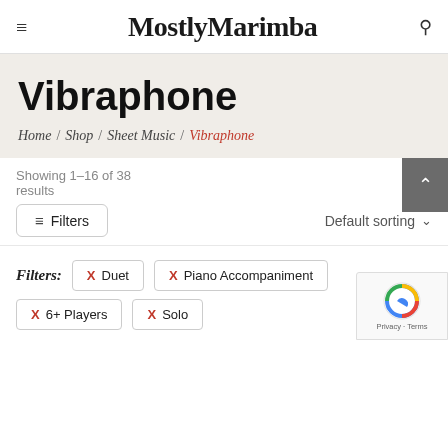MostlyMarimba
Vibraphone
Home / Shop / Sheet Music / Vibraphone
Showing 1–16 of 38 results
Default sorting
Filters
Filters: X Duet  X Piano Accompaniment
X 6+ Players  X Solo